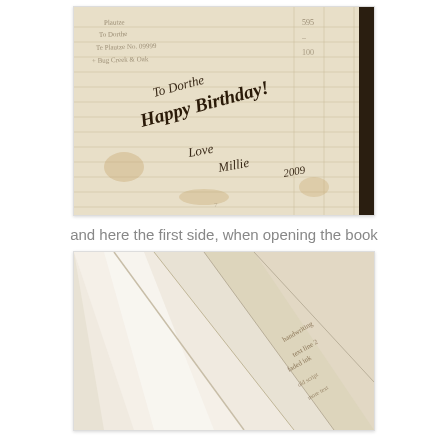[Figure (photo): Photo of an old ledger book cover with handwritten birthday inscription: 'To Dorthe Happy Birthday! Love Millie 2009', showing grid paper texture with aged/stained appearance]
and here the first side, when opening the book
[Figure (photo): Photo of the inside of an old book showing folded/layered pages with faded handwritten text visible on the right side, aged yellowish-cream paper]